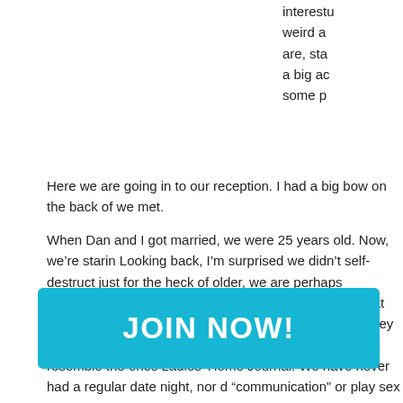interesting, weird and are, stay a big ac some p
Here we are going in to our reception. I had a big bow on the back of we met.
When Dan and I got married, we were 25 years old. Now, we're staring Looking back, I'm surprised we didn't self-destruct just for the heck of older, we are perhaps surprisingly also wiser. Here are the things we years that helped us stay married and even happy for 15 years. (Bey own. I can't promise another 15.) Our list does not resemble the ones Ladies' Home Journal. We have never had a regular date night, nor d "communication" or play sex games or see a therapist. He doesn't bri Thursday and I don't cook his favorite food very often. But we do have
1. Go to bed mad.
The old maxim that you shouldn't go to bed mad is stupid. Sometimes freakin' bed. "Let not the sun go down upon your wrath" is prefaced in "Be angry and sin not." So, who's to say it doesn't mean "Stay angry, urs." Seriously. Who r-stained and petula s stupid. Shut up, go husband get some sleep. In the morning, eat some pancakes. Everyth
[Figure (other): JOIN NOW! button overlay - a large cyan/blue rectangular button with white bold text reading JOIN NOW!]